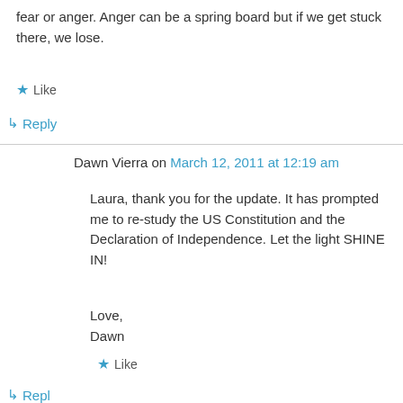fear or anger. Anger can be a spring board but if we get stuck there, we lose.
★ Like
↳ Reply
Dawn Vierra on March 12, 2011 at 12:19 am
Laura, thank you for the update. It has prompted me to re-study the US Constitution and the Declaration of Independence. Let the light SHINE IN!

Love,
Dawn
★ Like
↳ Reply